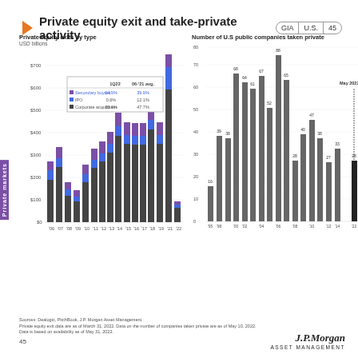Private equity exit and take-private activity
[Figure (stacked-bar-chart): Private equity exits by type]
[Figure (bar-chart): Number of U.S public companies taken private]
Sources: Dealogic, PitchBook, J.P. Morgan Asset Management. Private equity exit data are as of March 31, 2022. Data on the number of companies taken private are as of May 10, 2022. Data is based on availability as of May 31, 2022.